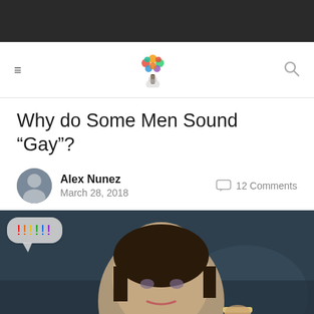Navigation bar with menu, logo, and search icon
Why do Some Men Sound “Gay”?
Alex Nunez
March 28, 2018
12 Comments
[Figure (photo): Hero image showing a young person with short hair holding a beer glass, with a speech bubble containing rainbow-colored exclamation marks in the upper left corner]